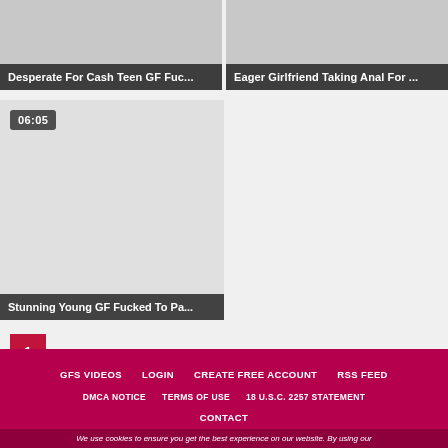[Figure (screenshot): Video thumbnail for 'Desperate For Cash Teen GF Fuc...']
Desperate For Cash Teen GF Fuc...
[Figure (screenshot): Video thumbnail for 'Eager Girlfriend Taking Anal For ...']
Eager Girlfriend Taking Anal For ...
[Figure (screenshot): Video thumbnail for 'Stunning Young GF Fucked To Pa...' with duration badge 06:05]
Stunning Young GF Fucked To Pa...
1
GFS VIDEOS   LOGIN   CREATE FREE ACCOUNT   RSS FEED   DMCA NOTICE   TERMS OF USE   18 U.S.C. 2257 STATEMENT   CONTACT   We use cookies to ensure you get the best experience on our website. By using our